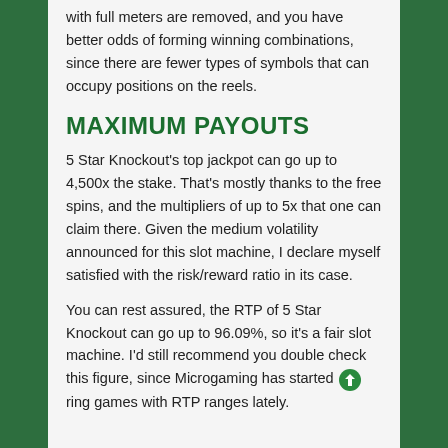with full meters are removed, and you have better odds of forming winning combinations, since there are fewer types of symbols that can occupy positions on the reels.
MAXIMUM PAYOUTS
5 Star Knockout's top jackpot can go up to 4,500x the stake. That's mostly thanks to the free spins, and the multipliers of up to 5x that one can claim there. Given the medium volatility announced for this slot machine, I declare myself satisfied with the risk/reward ratio in its case.
You can rest assured, the RTP of 5 Star Knockout can go up to 96.09%, so it's a fair slot machine. I'd still recommend you double check this figure, since Microgaming has started offering games with RTP ranges lately.